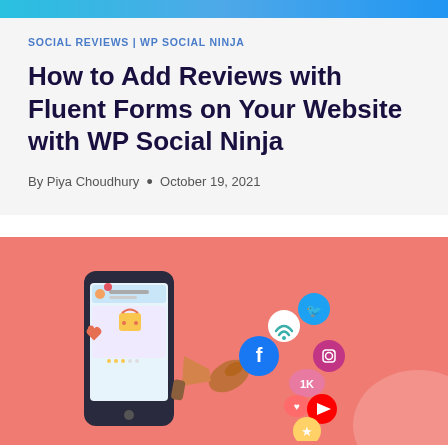SOCIAL REVIEWS | WP SOCIAL NINJA
How to Add Reviews with Fluent Forms on Your Website with WP Social Ninja
By Piya Choudhury • October 19, 2021
[Figure (illustration): Colorful illustration of a smartphone displaying a social media feed, with a megaphone and floating social media icons including Facebook, Twitter, Instagram, YouTube, and WiFi/notification symbols on a coral/salmon pink background.]